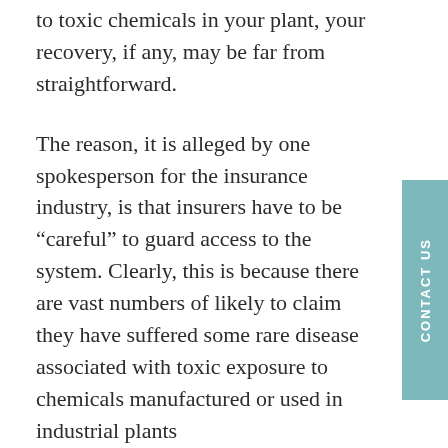to toxic chemicals in your plant, your recovery, if any, may be far from straightforward.
The reason, it is alleged by one spokesperson for the insurance industry, is that insurers have to be “careful” to guard access to the system. Clearly, this is because there are vast numbers of likely to claim they have suffered some rare disease associated with toxic exposure to chemicals manufactured or used in industrial plants
This sleight of hand does not make the any less injured or dead. But what it does do is shift the cost of these occupational illnesses and diseases to the taxpayer, and allows the insurance companies and